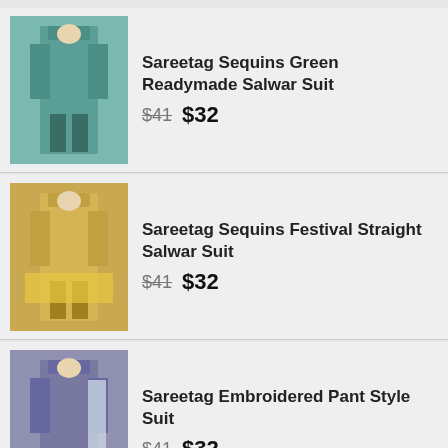Sareetag Sequins Green Readymade Salwar Suit $41 $32
Sareetag Sequins Festival Straight Salwar Suit $41 $32
Sareetag Embroidered Pant Style Suit $41 $32
We use cookies on our website to give you the most relevant experience by remembering your preferences and repeat visits. By clicking “Accept”, you consent to the use of ALL the cookies.
Do not sell my personal information.
Cookie settings   ACCEPT